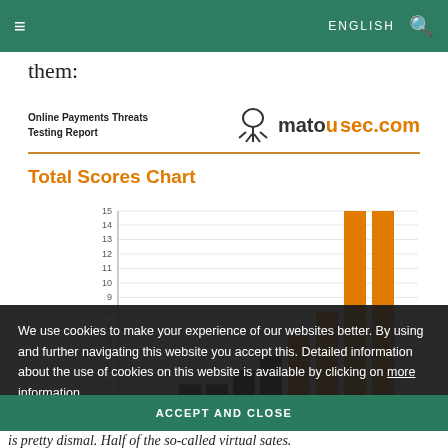≡  ENGLISH 🔍
them:
[Figure (logo): Online Payments Threats Testing Report logo with matousec.com branding]
Total Scores Chart
[Figure (bar-chart): Total Scores Chart]
We use cookies to make your experience of our websites better. By using and further navigating this website you accept this. Detailed information about the use of cookies on this website is available by clicking on more information.
ACCEPT AND CLOSE
is pretty dismal. Half of the so-called virtual sates.